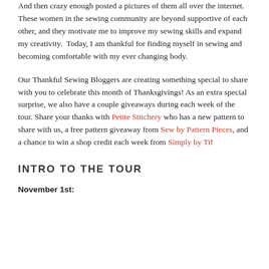And then crazy enough posted a pictures of them all over the internet.  These women in the sewing community are beyond supportive of each other, and they motivate me to improve my sewing skills and expand my creativity.  Today, I am thankful for finding myself in sewing and becoming comfortable with my ever changing body.
Our Thankful Sewing Bloggers are creating something special to share with you to celebrate this month of Thanksgivings! As an extra special surprise, we also have a couple giveaways during each week of the tour. Share your thanks with Petite Stitchery who has a new pattern to share with us, a free pattern giveaway from Sew by Pattern Pieces, and a chance to win a shop credit each week from Simply by Ti!
INTRO TO THE TOUR
November 1st: